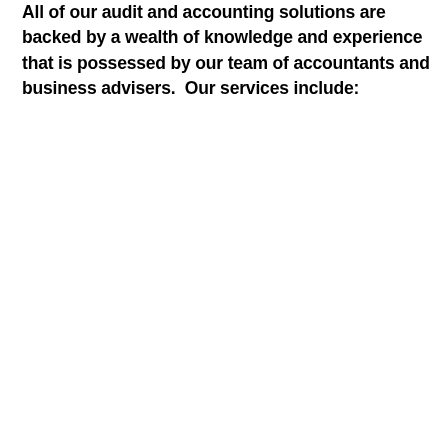All of our audit and accounting solutions are backed by a wealth of knowledge and experience that is possessed by our team of accountants and business advisers.  Our services include: